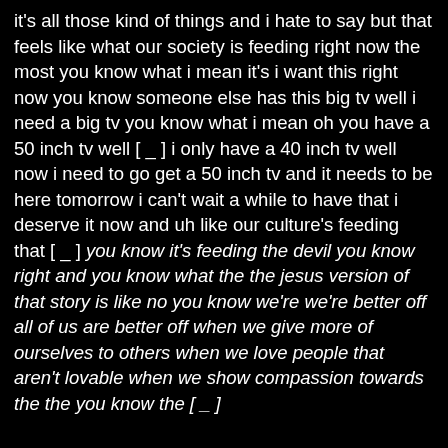it's all those kind of things and i hate to say but that feels like what our society is feeding right now the most you know what i mean it's i want this right now you know someone else has this big tv well i need a big tv you know what i mean oh you have a 50 inch tv well [ _ ] i only have a 40 inch tv well now i need to go get a 50 inch tv and it needs to be here tomorrow i can't wait a while to have that i deserve it now and uh like our culture's feeding that [ _ ] you know it's feeding the devil you know right and you know what the the jesus version of that story is like no you know we're we're better off all of us are better off when we give more of ourselves to others when we love people that aren't lovable when we show compassion towards the the you know the [ _ ]